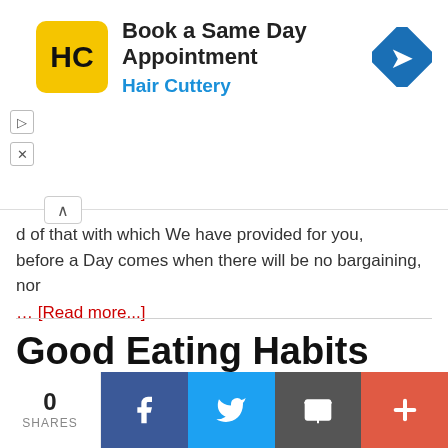[Figure (screenshot): Hair Cuttery advertisement banner with logo, 'Book a Same Day Appointment' text, and navigation arrow icon]
d of that with which We have provided for you, before a Day comes when there will be no bargaining, nor
... [Read more...]
Good Eating Habits Colouring Page
Filed Under: Colouring Pages
[Figure (infographic): Social share bar with 0 Shares, Facebook, Twitter, Email, and Plus buttons]